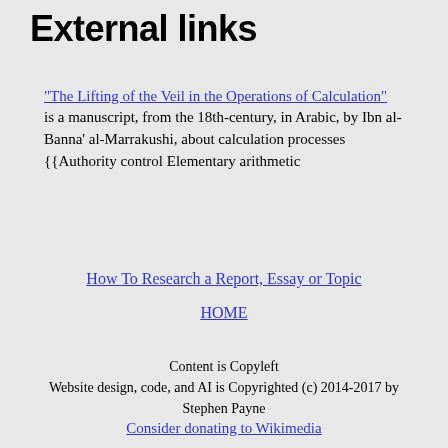External links
"The Lifting of the Veil in the Operations of Calculation" is a manuscript, from the 18th-century, in Arabic, by Ibn al-Banna' al-Marrakushi, about calculation processes {{Authority control Elementary arithmetic
How To Research a Report, Essay or Topic
HOME
Content is Copyleft
Website design, code, and AI is Copyrighted (c) 2014-2017 by Stephen Payne
Consider donating to Wikimedia